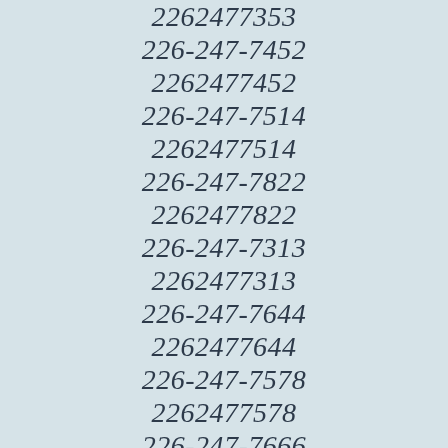2262477353
226-247-7452
2262477452
226-247-7514
2262477514
226-247-7822
2262477822
226-247-7313
2262477313
226-247-7644
2262477644
226-247-7578
2262477578
226-247-7666
2262477666
226-247-7507